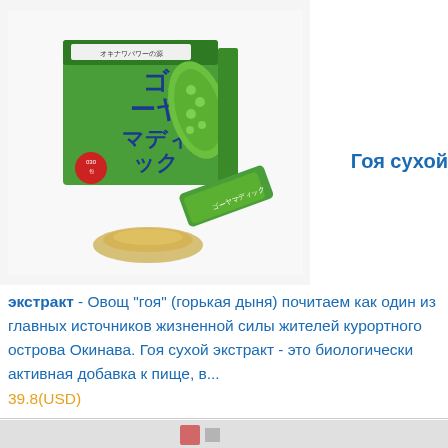[Figure (photo): Product photo of Japanese Goya (bitter melon) dry extract supplement box with green packaging, Japanese text, and small sachet packets with powder shown in front]
Гоя сухой экстракт
экстракт - Овощ "гоя" (горькая дыня) почитаем как один из главных источников жизненной силы жителей курортного острова Окинава. Гоя сухой экстракт - это биологически активная добавка к пище, в... 39.8(USD)